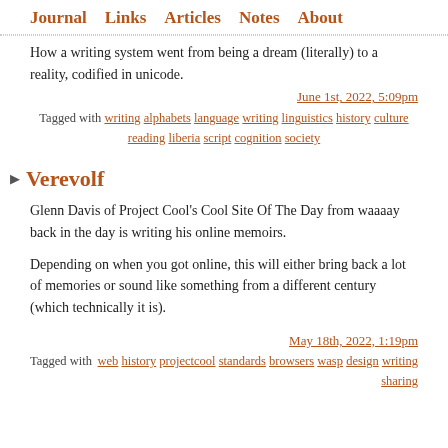Journal   Links   Articles   Notes   About
How a writing system went from being a dream (literally) to a reality, codified in unicode.
June 1st, 2022, 5:09pm
Tagged with writing alphabets language writing linguistics history culture reading liberia script cognition society
Verevolf
Glenn Davis of Project Cool's Cool Site Of The Day from waaaay back in the day is writing his online memoirs.
Depending on when you got online, this will either bring back a lot of memories or sound like something from a different century (which technically it is).
May 18th, 2022, 1:19pm
Tagged with web history projectcool standards browsers wasp design writing sharing